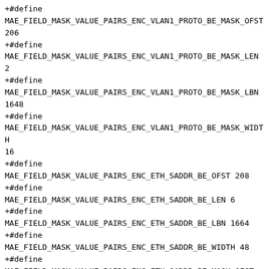+#define MAE_FIELD_MASK_VALUE_PAIRS_ENC_VLAN1_PROTO_BE_MASK_OFST 206
+#define MAE_FIELD_MASK_VALUE_PAIRS_ENC_VLAN1_PROTO_BE_MASK_LEN 2
+#define MAE_FIELD_MASK_VALUE_PAIRS_ENC_VLAN1_PROTO_BE_MASK_LBN 1648
+#define MAE_FIELD_MASK_VALUE_PAIRS_ENC_VLAN1_PROTO_BE_MASK_WIDTH 16
+#define MAE_FIELD_MASK_VALUE_PAIRS_ENC_ETH_SADDR_BE_OFST 208
+#define MAE_FIELD_MASK_VALUE_PAIRS_ENC_ETH_SADDR_BE_LEN 6
+#define MAE_FIELD_MASK_VALUE_PAIRS_ENC_ETH_SADDR_BE_LBN 1664
+#define MAE_FIELD_MASK_VALUE_PAIRS_ENC_ETH_SADDR_BE_WIDTH 48
+#define MAE_FIELD_MASK_VALUE_PAIRS_ENC_ETH_SADDR_BE_MASK_OFST 214
+#define MAE_FIELD_MASK_VALUE_PAIRS_ENC_ETH_SADDR_BE_MASK_LEN 6
+#define MAE_FIELD_MASK_VALUE_PAIRS_ENC_ETH_SADDR_BE_MASK_LBN 1712
+#define MAE_FIELD_MASK_VALUE_PAIRS_ENC_ETH_SADDR_BE_MASK_WIDTH